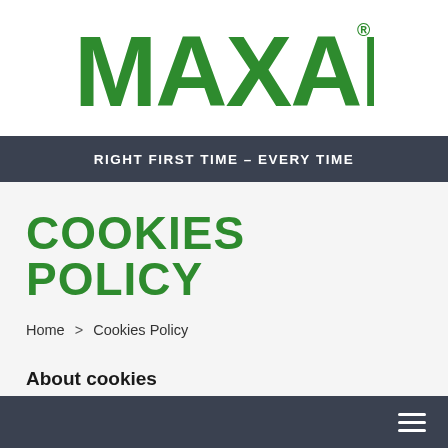[Figure (logo): MAXAM logo in green bold uppercase letters with registered trademark symbol]
RIGHT FIRST TIME – EVERY TIME
COOKIES POLICY
Home  >  Cookies Policy
About cookies
This website uses cookies. By using this website